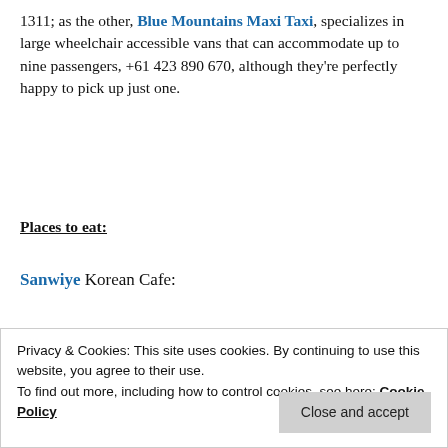1311; as the other, Blue Mountains Maxi Taxi, specializes in large wheelchair accessible vans that can accommodate up to nine passengers, +61 423 890 670, although they're perfectly happy to pick up just one.
Places to eat:
Sanwiye Korean Cafe:
[Figure (other): Advertisement banner with dark navy background showing a white circle with a tree/sensei logo icon and the text 'sensei' in white letters beside it. Labeled 'Advertisements' above.]
Privacy & Cookies: This site uses cookies. By continuing to use this website, you agree to their use.
To find out more, including how to control cookies, see here: Cookie Policy
Close and accept